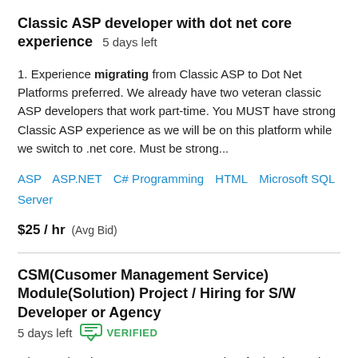Classic ASP developer with dot net core experience  5 days left
1. Experience migrating from Classic ASP to Dot Net Platforms preferred. We already have two veteran classic ASP developers that work part-time. You MUST have strong Classic ASP experience as we will be on this platform while we switch to .net core. Must be strong...
ASP  ASP.NET  C# Programming  HTML  Microsoft SQL Server
$25 / hr  (Avg Bid)
CSM(Cusomer Management Service) Module(Solution) Project / Hiring for S/W Developer or Agency  5 days left  VERIFIED
...international government request project for implementing IT solutions into Smart Building in East Asian country. Detailed information could be shared after